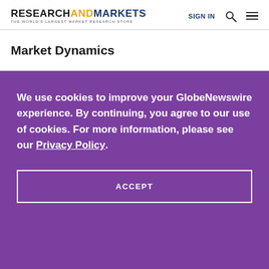RESEARCHANDMARKETS THE WORLD'S LARGEST MARKET RESEARCH STORE | SIGN IN
Market Dynamics
We use cookies to improve your GlobeNewswire experience. By continuing, you agree to our use of cookies. For more information, please see our Privacy Policy.
ACCEPT